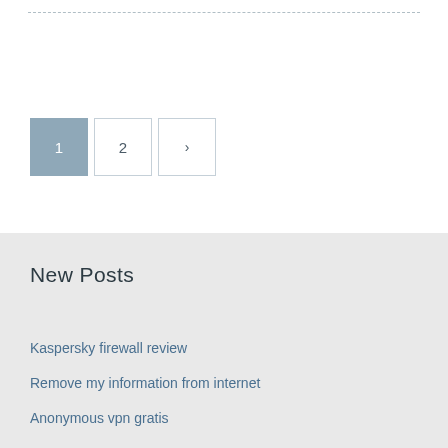[Figure (other): Pagination controls with buttons: 1 (active/filled), 2, and next arrow (>)]
New Posts
Kaspersky firewall review
Remove my information from internet
Anonymous vpn gratis